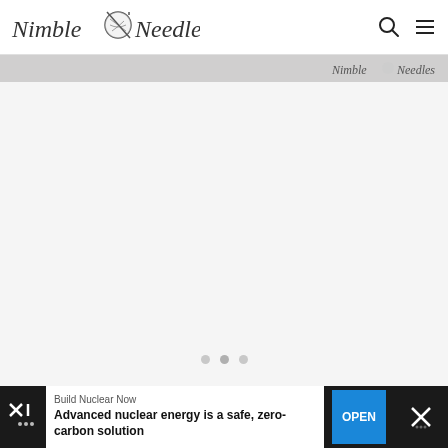Nimble Needles
[Figure (screenshot): Gray watermark banner with Nimble Needles logo/text on the right side]
[Figure (screenshot): Light gray main content area with three carousel dots at the bottom]
[Figure (screenshot): Advertisement banner at bottom: Build Nuclear Now - Advanced nuclear energy is a safe, zero-carbon solution, with OPEN button]